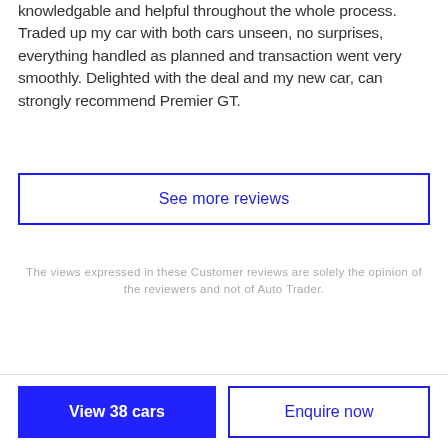knowledgable and helpful throughout the whole process. Traded up my car with both cars unseen, no surprises, everything handled as planned and transaction went very smoothly. Delighted with the deal and my new car, can strongly recommend Premier GT.
See more reviews
The views expressed in these Customer reviews are solely the opinion of the reviewers and not of Auto Trader.
View 38 cars
Enquire now